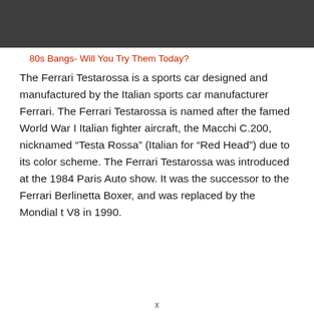[Figure (photo): Dark gray/charcoal colored banner image at top of page]
80s Bangs- Will You Try Them Today?
The Ferrari Testarossa is a sports car designed and manufactured by the Italian sports car manufacturer Ferrari. The Ferrari Testarossa is named after the famed World War I Italian fighter aircraft, the Macchi C.200, nicknamed “Testa Rossa” (Italian for “Red Head”) due to its color scheme. The Ferrari Testarossa was introduced at the 1984 Paris Auto show. It was the successor to the Ferrari Berlinetta Boxer, and was replaced by the Mondial t V8 in 1990.
x